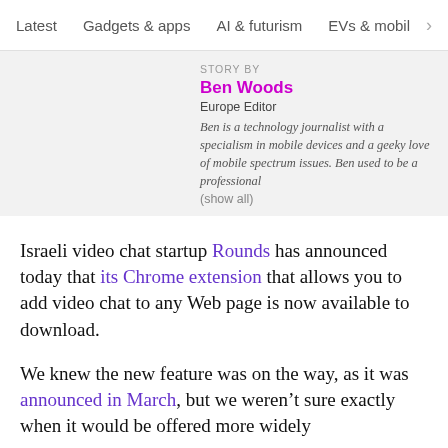Latest   Gadgets & apps   AI & futurism   EVs & mobil  >
STORY BY
Ben Woods
Europe Editor
Ben is a technology journalist with a specialism in mobile devices and a geeky love of mobile spectrum issues. Ben used to be a professional (show all)
Israeli video chat startup Rounds has announced today that its Chrome extension that allows you to add video chat to any Web page is now available to download.
We knew the new feature was on the way, as it was announced in March, but we weren’t sure exactly when it would be offered more widely